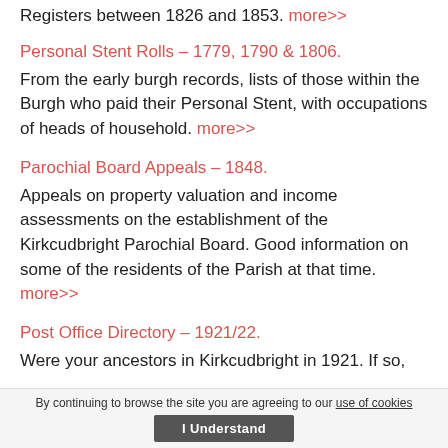Registers between 1826 and 1853. more>>
Personal Stent Rolls – 1779, 1790 & 1806.
From the early burgh records, lists of those within the Burgh who paid their Personal Stent, with occupations of heads of household. more>>
Parochial Board Appeals – 1848.
Appeals on property valuation and income assessments on the establishment of the Kirkcudbright Parochial Board. Good information on some of the residents of the Parish at that time. more>>
Post Office Directory – 1921/22.
Were your ancestors in Kirkcudbright in 1921. If so,
By continuing to browse the site you are agreeing to our use of cookies  I Understand